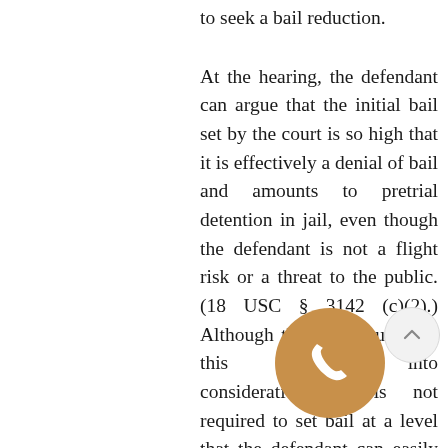to seek a bail reduction.

At the hearing, the defendant can argue that the initial bail set by the court is so high that it is effectively a denial of bail and amounts to pretrial detention in jail, even though the defendant is not a flight risk or a threat to the public. (18 USC § 3142 (c)(2).) Although the court must take this argument into consideration, it is not required to set bail at a level that the defendant can easily pay. Courts can set bail high enough “to induce a defendant to go to great lengths to raise the funds without violating” the constitution or the Bail Reform Act. (U.S. v. Szot, 787 F.2d 159 (7thCir., 1985).) As long as the court’s actual motive is not to just force the defendant
[Figure (other): Orange circular phone/call button icon overlapping the text]
[Figure (other): Light gray circular up-arrow navigation button]